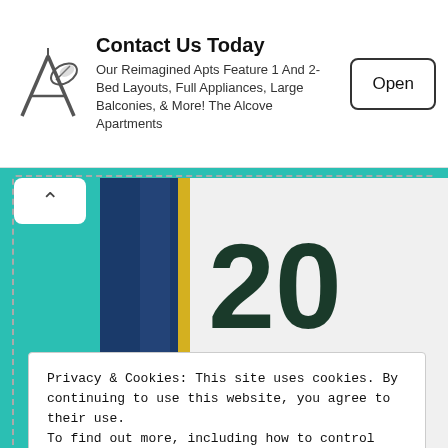[Figure (other): Advertisement banner: logo of a building with leaf, title 'Contact Us Today', description text about apartments, and an 'Open' button]
[Figure (photo): Photo showing a white garment/jersey with large dark '20' number and a green coat-of-arms crest embroidered on it, with blue fabric visible on the side]
Privacy & Cookies: This site uses cookies. By continuing to use this website, you agree to their use.
To find out more, including how to control cookies, see here: Cookie Policy
Close and accept
SECOND GRADUATION ON